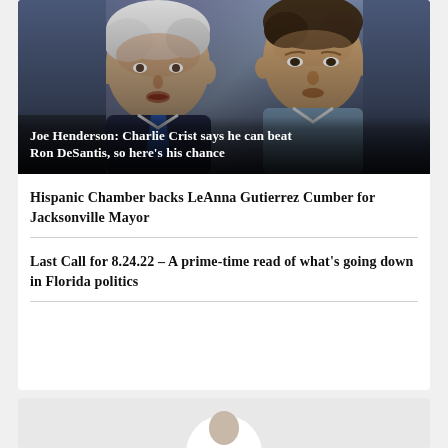[Figure (photo): Two men side by side — an older white-haired man on the left and a younger dark-haired man on the right, with a banner caption overlay at the bottom.]
Joe Henderson: Charlie Crist says he can beat Ron DeSantis, so here's his chance
Hispanic Chamber backs LeAnna Gutierrez Cumber for Jacksonville Mayor
Last Call for 8.24.22 – A prime-time read of what's going down in Florida politics
[Figure (photo): Partial image of a person (profile/avatar style), mostly cropped, showing a circular white silhouette against a light grey background.]